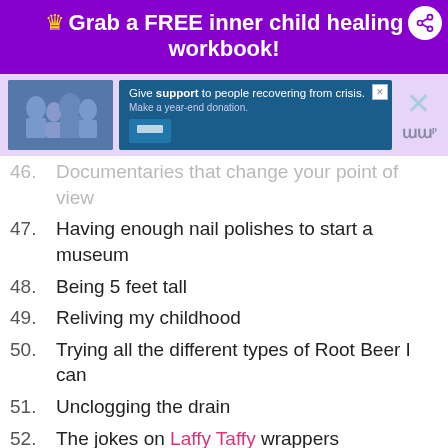Grab a FREE inner child healing workbook!
[Figure (screenshot): Advertisement banner: people smiling, text 'Give support to people recovering from crisis. Make a year-end donation.']
46. Documentaries that change your point of view
47. Having enough nail polishes to start a museum
48. Being 5 feet tall
49. Reliving my childhood
50. Trying all the different types of Root Beer I can
51. Unclogging the drain
52. The jokes on Laffy Taffy wrappers
53. Wearing slippers in public